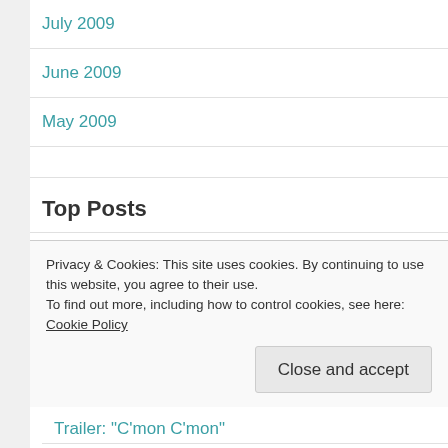July 2009
June 2009
May 2009
Top Posts
I like to follow then swallow. Everyone knows swallowing before following will make you sick.
Privacy & Cookies: This site uses cookies. By continuing to use this website, you agree to their use.
To find out more, including how to control cookies, see here: Cookie Policy
Trailer: "C'mon C'mon"